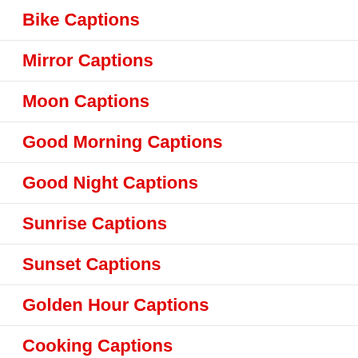Bike Captions
Mirror Captions
Moon Captions
Good Morning Captions
Good Night Captions
Sunrise Captions
Sunset Captions
Golden Hour Captions
Cooking Captions